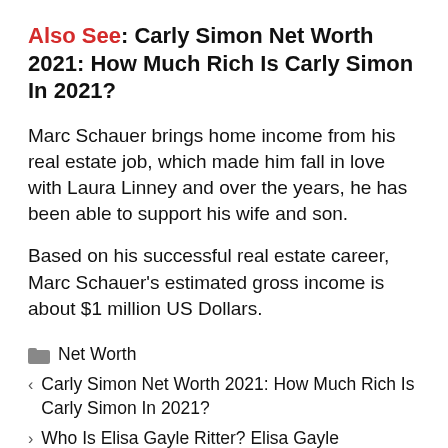Also See: Carly Simon Net Worth 2021: How Much Rich Is Carly Simon In 2021?
Marc Schauer brings home income from his real estate job, which made him fall in love with Laura Linney and over the years, he has been able to support his wife and son.
Based on his successful real estate career, Marc Schauer's estimated gross income is about $1 million US Dollars.
Net Worth
Carly Simon Net Worth 2021: How Much Rich Is Carly Simon In 2021?
Who Is Elisa Gayle Ritter? Elisa Gayle